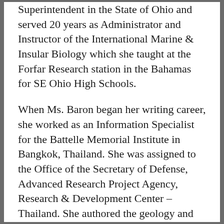Superintendent in the State of Ohio and served 20 years as Administrator and Instructor of the International Marine & Insular Biology which she taught at the Forfar Research station in the Bahamas for SE Ohio High Schools.
When Ms. Baron began her writing career, she worked as an Information Specialist for the Battelle Memorial Institute in Bangkok, Thailand. She was assigned to the Office of the Secretary of Defense, Advanced Research Project Agency, Research & Development Center – Thailand. She authored the geology and hydrology sections of the Top Secret Mekong River Project and wrote the Operational Procedures Manual for ARPA Thailand. Irene directed aerial photography along the Mekong River bordering Thailand, Laos and Cambodia. Her aerial photography was awarded First-Place recognition in the Americana Category